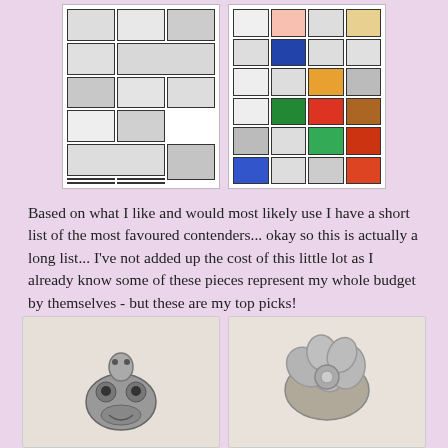[Figure (photo): Two collages of rings: left collage shows black-and-white/silver rings in a grid, right collage shows colorful rings in a grid]
Based on what I like and would most likely use I have a short list of the most favoured contenders... okay so this is actually a long list... I've not added up the cost of this little lot as I already know some of these pieces represent my whole budget by themselves - but these are my top picks!
[Figure (photo): Two silver jewelry charms/rings at the bottom: left shows a frog/skull charm, right shows a flower-shaped ring]